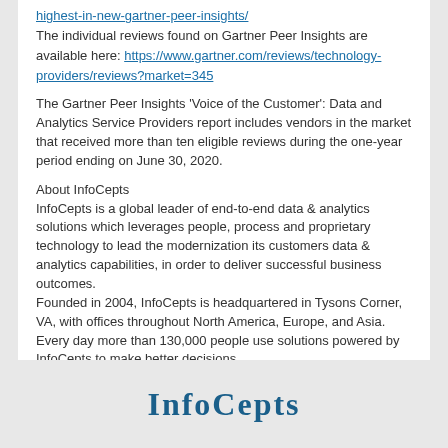highest-in-new-gartner-peer-insights/ The individual reviews found on Gartner Peer Insights are available here: https://www.gartner.com/reviews/technology-providers/reviews?market=345
The Gartner Peer Insights 'Voice of the Customer': Data and Analytics Service Providers report includes vendors in the market that received more than ten eligible reviews during the one-year period ending on June 30, 2020.
About InfoCepts
InfoCepts is a global leader of end-to-end data & analytics solutions which leverages people, process and proprietary technology to lead the modernization its customers data & analytics capabilities, in order to deliver successful business outcomes.
Founded in 2004, InfoCepts is headquartered in Tysons Corner, VA, with offices throughout North America, Europe, and Asia. Every day more than 130,000 people use solutions powered by InfoCepts to make better decisions.
[Figure (logo): InfoCepts logo in dark blue text at the bottom of the page]